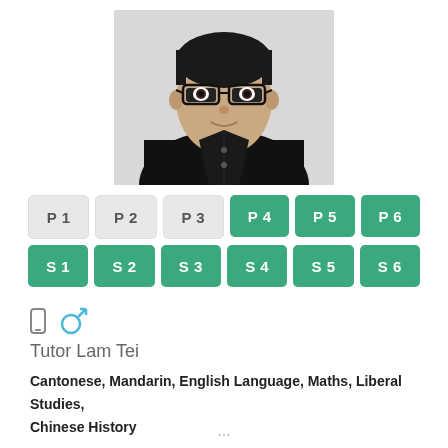[Figure (photo): Headshot photo of a young Asian male tutor wearing glasses and a black polo shirt, facing forward with a slight smile.]
[Figure (infographic): A 2-row grid of grade level buttons. Row 1: P1 (gray), P2 (gray), P3 (gray), P4 (green), P5 (green), P6 (green). Row 2: S1 (green), S2 (green), S3 (green), S4 (green), S5 (green), S6 (green).]
Tutor Lam Tei
Cantonese, Mandarin, English Language, Maths, Liberal Studies, Chinese History
...